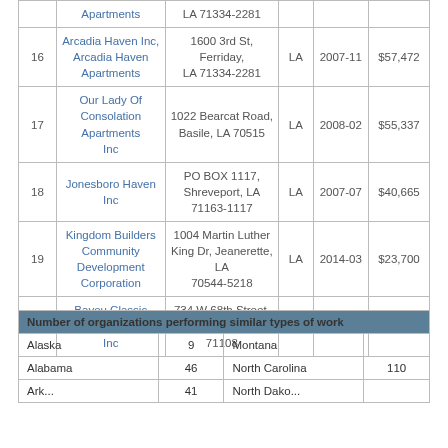| # | Name | Address | State | Date | Amount |
| --- | --- | --- | --- | --- | --- |
|  | Apartments | LA 71334-2281 |  |  |  |
| 16 | Arcadia Haven Inc, Arcadia Haven Apartments | 1600 3rd St, Ferriday, LA 71334-2281 | LA | 2007-11 | $57,472 |
| 17 | Our Lady Of Consolation Apartments Inc | 1022 Bearcat Road, Basile, LA 70515 | LA | 2008-02 | $55,337 |
| 18 | Jonesboro Haven Inc | PO BOX 1117, Shreveport, LA 71163-1117 | LA | 2007-07 | $40,665 |
| 19 | Kingdom Builders Community Development Corporation | 1004 Martin Luther King Dr, Jeanerette, LA 70544-5218 | LA | 2014-03 | $23,700 |
| 20 | Bayou Classic Housing Inc | 734 W 68th Street, Shreveport, LA 71108 | LA | 2007-02 | $4,464 |
| Number of organizations performing similar types of work |
| --- |
| Alaska | 9 | Montana |  |
| Alabama | 46 | North Carolina | 110 |
| Ark... | 41 | North Dakota |  |